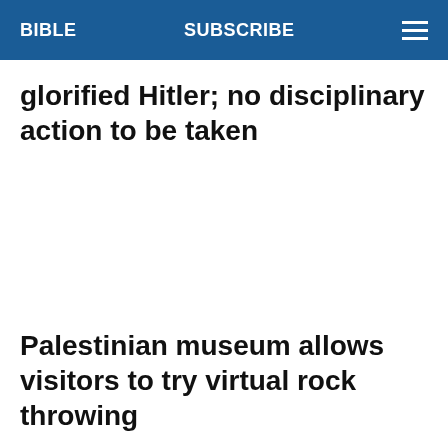BIBLE   SUBSCRIBE
glorified Hitler; no disciplinary action to be taken
Palestinian museum allows visitors to try virtual rock throwing